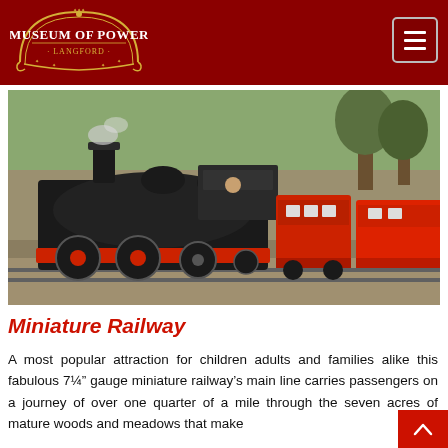Museum of Power Langford
[Figure (photo): A black miniature steam locomotive pulling red passenger cars on a narrow gauge railway track, with trees in the background.]
Miniature Railway
A most popular attraction for children adults and families alike this fabulous 7¼" gauge miniature railway's main line carries passengers on a journey of over one quarter of a mile through the seven acres of mature woods and meadows that make